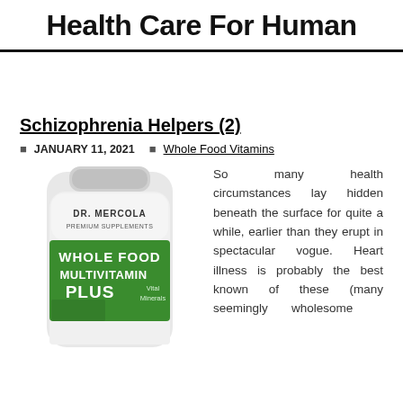Health Care For Human
Schizophrenia Helpers (2)
JANUARY 11, 2021   Whole Food Vitamins
[Figure (photo): Dr. Mercola Premium Supplements Whole Food Multivitamin Plus Vital Minerals bottle]
So many health circumstances lay hidden beneath the surface for quite a while, earlier than they erupt in spectacular vogue. Heart illness is probably the best known of these (many seemingly wholesome